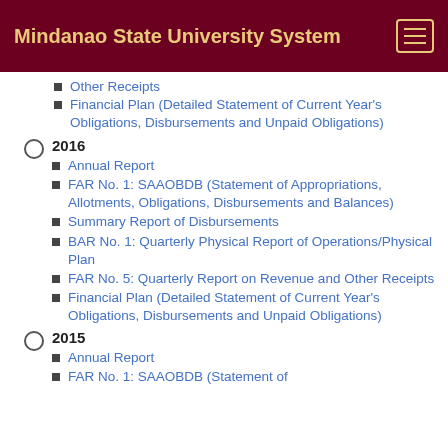Mindanao State University System
Other Receipts
Financial Plan (Detailed Statement of Current Year's Obligations, Disbursements and Unpaid Obligations)
2016
Annual Report
FAR No. 1: SAAOBDB (Statement of Appropriations, Allotments, Obligations, Disbursements and Balances)
Summary Report of Disbursements
BAR No. 1: Quarterly Physical Report of Operations/Physical Plan
FAR No. 5: Quarterly Report on Revenue and Other Receipts
Financial Plan (Detailed Statement of Current Year's Obligations, Disbursements and Unpaid Obligations)
2015
Annual Report
FAR No. 1: SAAOBDB (Statement of